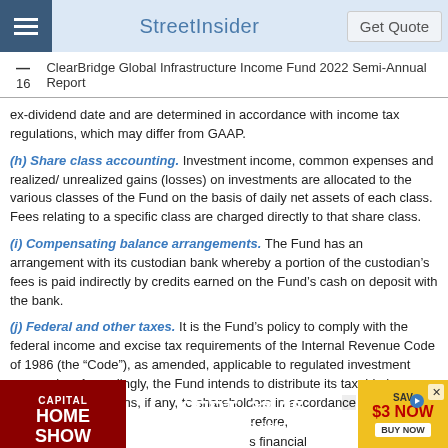StreetInsider
16   ClearBridge Global Infrastructure Income Fund 2022 Semi-Annual Report
ex-dividend date and are determined in accordance with income tax regulations, which may differ from GAAP.
(h) Share class accounting. Investment income, common expenses and realized/ unrealized gains (losses) on investments are allocated to the various classes of the Fund on the basis of daily net assets of each class. Fees relating to a specific class are charged directly to that share class.
(i) Compensating balance arrangements. The Fund has an arrangement with its custodian bank whereby a portion of the custodian's fees is paid indirectly by credits earned on the Fund's cash on deposit with the bank.
(j) Federal and other taxes. It is the Fund's policy to comply with the federal income and excise tax requirements of the Internal Revenue Code of 1986 (the “Code”), as amended, applicable to regulated investment companies. Accordingly, the Fund intends to distribute its taxable income and net realized gains, if any, to shareholders in accordance... Therefore, no federal... financial statements.
[Figure (other): Advertisement banner: Capital Home Show, Sept. 23-25, Dulles Expo Center, Save $3 Now, Buy Now]